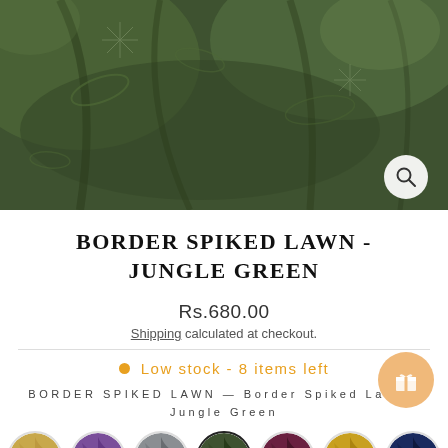[Figure (photo): Close-up photo of dark jungle green textured fabric with subtle leaf/spike pattern, draped with folds visible]
BORDER SPIKED LAWN - JUNGLE GREEN
Rs.680.00
Shipping calculated at checkout.
Low stock - 8 items left
BORDER SPIKED LAWN — Border Spiked Lawn - Jungle Green
[Figure (illustration): Row of circular color swatch thumbnails showing fabric variants: tan/gold, purple, grey, jungle green (selected with dark border), dark purple/maroon, mustard yellow, navy blue]